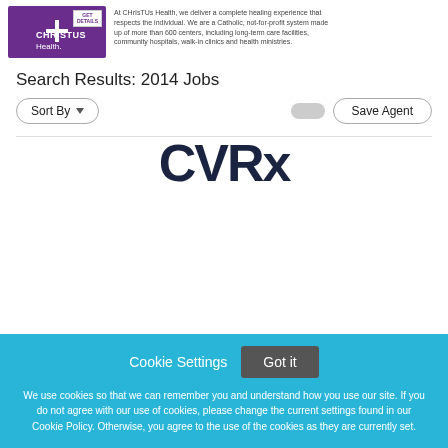[Figure (logo): CHRISTUS Health logo in purple with a cross icon and 'GET DETAILS' button]
At CHRISTUS Health, we deliver a complete healing experience that respects the individual. We are a Catholic, not-for-profit system made up of more than 600 centers, including long-term care facilities, community hospitals, walk-in clinics and health ministries.
Search Results: 2014 Jobs
Sort By
Save Agent
[Figure (screenshot): Partial CVRx logo text showing 'CVRx' in large dark navy bold letters]
Cookie Settings
Got it
We use cookies so that we can remember you and understand how you use our site. If you do not agree with our use of cookies, please change the current settings found in our Cookie Policy. Otherwise, you agree to the use of the cookies as they are currently set.